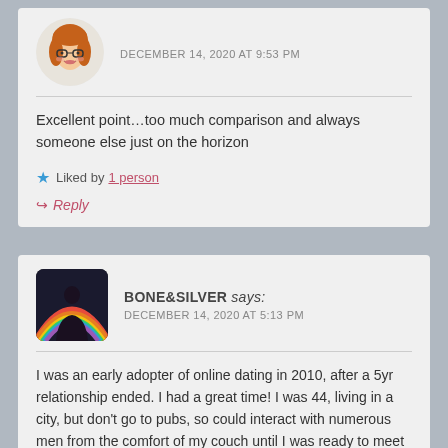DECEMBER 14, 2020 AT 9:53 PM
Excellent point…too much comparison and always someone else just on the horizon
Liked by 1 person
Reply
BONE&SILVER says: DECEMBER 14, 2020 AT 5:13 PM
I was an early adopter of online dating in 2010, after a 5yr relationship ended. I had a great time! I was 44, living in a city, but don't go to pubs, so could interact with numerous men from the comfort of my couch until I was ready to meet them. As a writer, I loved messaging back and forth- some men can send literary essays, and the ones that don't soon fall by the wayside (for me, as one of my criteria for getting to know